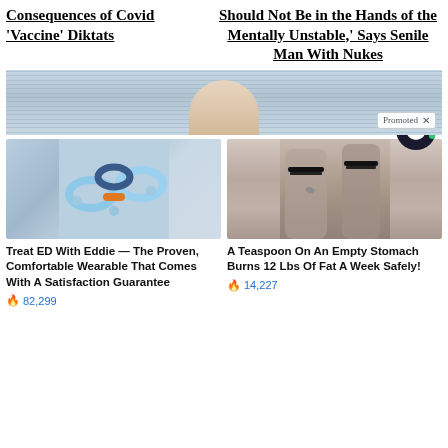Consequences of Covid 'Vaccine' Diktats
Should Not Be in the Hands of the Mentally Unstable,' Says Senile Man With Nukes
[Figure (logo): Sponsor/ad network logo: green and dark circle logo]
[Figure (photo): Advertisement banner with person lying down, horizontal blind lines in background, Promoted label]
[Figure (photo): Massage ring toy product photo — light blue and orange rings on white background]
Treat ED With Eddie — The Proven, Comfortable Wearable That Comes With A Satisfaction Guarantee
82,299
[Figure (photo): Before and after weight loss photo showing woman's back]
A Teaspoon On An Empty Stomach Burns 12 Lbs Of Fat A Week Safely!
14,227